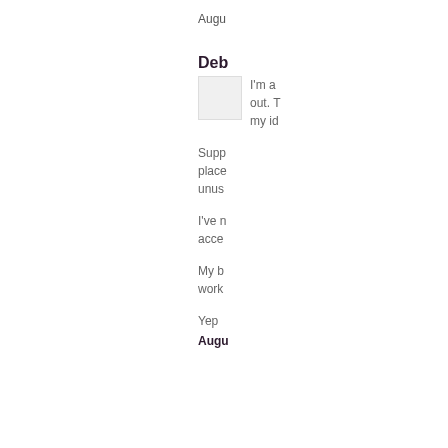Augu...
Deb...
I'm a... out. ... my id...
Supp... place... unus...
I've n... acce...
My b... work...
Yep ...
Augu...